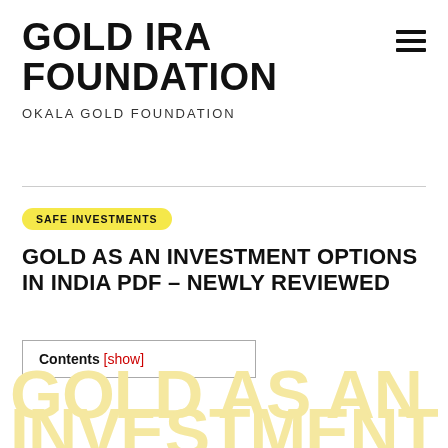GOLD IRA FOUNDATION
OKALA GOLD FOUNDATION
SAFE INVESTMENTS
GOLD AS AN INVESTMENT OPTIONS IN INDIA PDF – NEWLY REVIEWED
Contents [show]